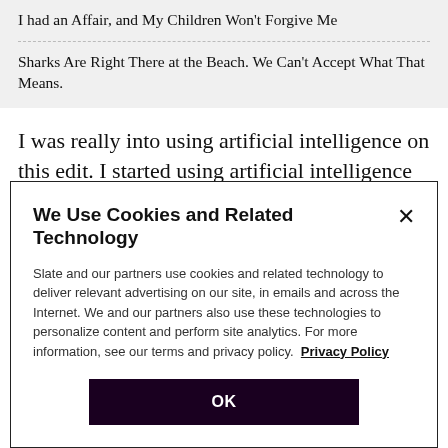I had an Affair, and My Children Won't Forgive Me
Sharks Are Right There at the Beach. We Can't Accept What That Means.
I was really into using artificial intelligence on this edit. I started using artificial intelligence synthesis to do Remini on the faces, which is going to be controversial, or to do Topaz, or to colorize, to make the work-print
We Use Cookies and Related Technology
Slate and our partners use cookies and related technology to deliver relevant advertising on our site, in emails and across the Internet. We and our partners also use these technologies to personalize content and perform site analytics. For more information, see our terms and privacy policy.  Privacy Policy
OK